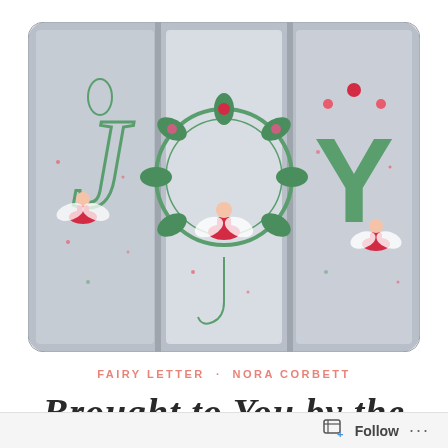[Figure (photo): A photograph of embroidered fabric panels spelling 'JOY' using fairy letter cross-stitch designs by Nora Corbett. Each letter features a fairy figure in red dress with white wings, decorated with green botanical elements, flowers, and pink accents on light cream/grey fabric.]
FAIRY LETTER · NORA CORBETT
Brought to You by the
Follow ···